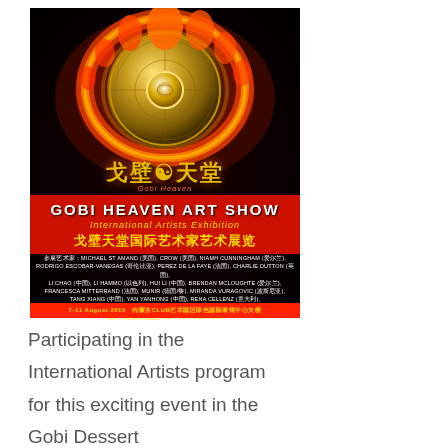[Figure (illustration): Event poster for 'Gobi Heaven Art Show - International Artists Exhibition'. Black background with dramatic fire and flame imagery surrounding a golden disc/gong. Chinese characters at top read 戈壁天堂 (Gobi Heaven). Red banner section shows 'GOBI HEAVEN ART SHOW International Artists Exhibition' and Chinese subtitle 戈壁天堂国际艺术家艺术展览. Lists participating international artists and curator Sushanna. Date: 7-11 August 2010.]
Participating in the International Artists program for this exciting event in the Gobi Dessert